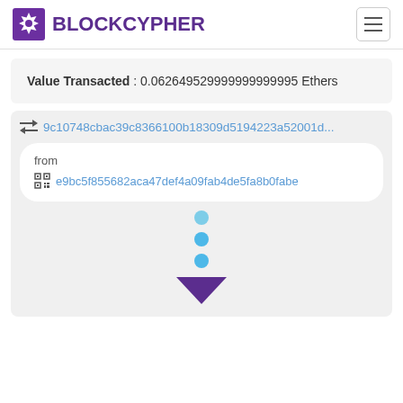BLOCKCYPHER
Value Transacted : 0.062649529999999999995 Ethers
9c10748cbac39c8366100b18309d5194223a52001d...
from
e9bc5f855682aca47def4a09fab4de5fa8b0fabe
[Figure (illustration): Three blue dots arranged vertically followed by a purple downward-pointing triangle/arrow]